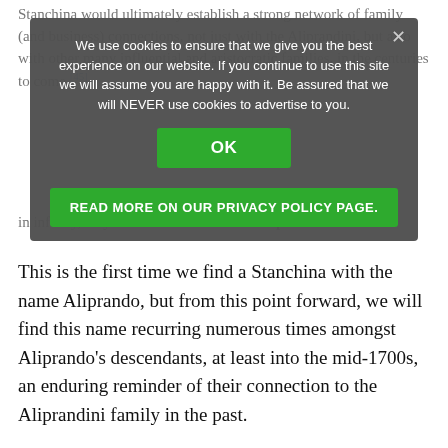Stanchina would ultimately establish a strong network of family (and business) connections, not just with the Aliprandini, but also with other many influential and aristocratic families, in the centuries to come.[45]
[Figure (screenshot): Cookie consent overlay with gray background. Text reads: 'We use cookies to ensure that we give you the best experience on our website. If you continue to use this site we will assume you are happy with it. Be assured that we will NEVER use cookies to advertise to you.' Green OK button and green 'READ MORE ON OUR PRIVACY POLICY PAGE.' button. X close button top right.]
Following tradition, Matto...a named their first son after Matteo's father Giovanni, and their second son after Maria's...ely died in infancy, they had another son named Aliprando in 1598.[46]
This is the first time we find a Stanchina with the name Aliprando, but from this point forward, we will find this name recurring numerous times amongst Aliprando's descendants, at least into the mid-1700s, an enduring reminder of their connection to the Aliprandini family in the past.
Knighthood – The Stanchina de Leiffenburg (1624-1661)
We know from many sources that, in 1624, the Stanchina of